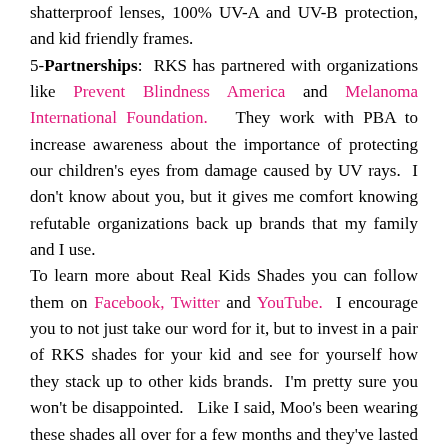shatterproof lenses, 100% UV-A and UV-B protection, and kid friendly frames. 5-Partnerships: RKS has partnered with organizations like Prevent Blindness America and Melanoma International Foundation. They work with PBA to increase awareness about the importance of protecting our children's eyes from damage caused by UV rays. I don't know about you, but it gives me comfort knowing refutable organizations back up brands that my family and I use. To learn more about Real Kids Shades you can follow them on Facebook, Twitter and YouTube. I encourage you to not just take our word for it, but to invest in a pair of RKS shades for your kid and see for yourself how they stack up to other kids brands. I'm pretty sure you won't be disappointed. Like I said, Moo's been wearing these shades all over for a few months and they've lasted longer than most of her previous shades. $14.99 is a small price to pay when it comes to